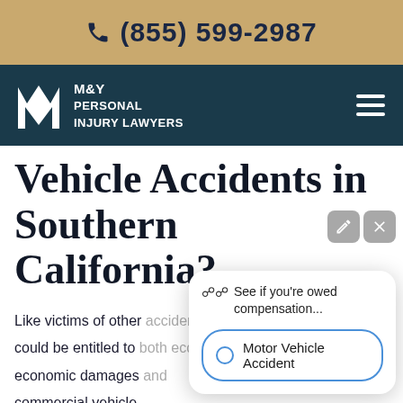☎ (855) 599-2987
[Figure (logo): M&Y Personal Injury Lawyers logo with stylized M icon and text on dark teal navigation bar]
Vehicle Accidents in Southern California?
Like victims of other accidents, you could be entitled to both economic and non-economic damages and commercial vehicle.
[Figure (screenshot): Popup widget: 'See if you're owed compensation...' with radio option 'Motor Vehicle Accident']